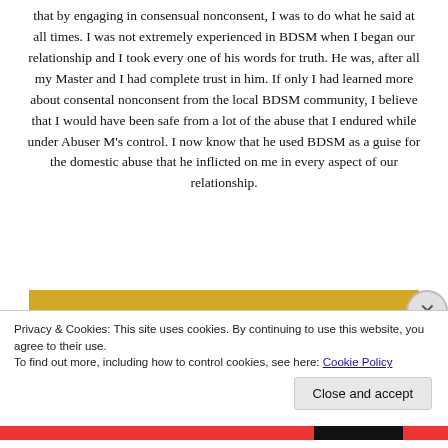that by engaging in consensual nonconsent, I was to do what he said at all times. I was not extremely experienced in BDSM when I began our relationship and I took every one of his words for truth. He was, after all my Master and I had complete trust in him. If only I had learned more about consental nonconsent from the local BDSM community, I believe that I would have been safe from a lot of the abuse that I endured while under Abuser M's control. I now know that he used BDSM as a guise for the domestic abuse that he inflicted on me in every aspect of our relationship.
[Figure (illustration): Golden/yellow background with large bold italic black text reading 'no' in a stylized font, partially cropped at bottom]
Privacy & Cookies: This site uses cookies. By continuing to use this website, you agree to their use.
To find out more, including how to control cookies, see here: Cookie Policy
Close and accept